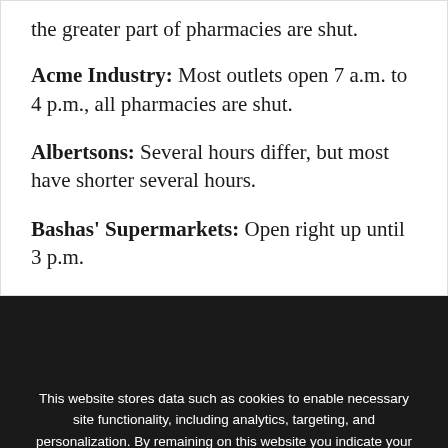the greater part of pharmacies are shut.
Acme Industry: Most outlets open 7 a.m. to 4 p.m., all pharmacies are shut.
Albertsons: Several hours differ, but most have shorter several hours.
Bashas' Supermarkets: Open right up until 3 p.m.
We use cookies on our website to give you the most relevant experience by remembering your preferences and repeat visits. By clicking "Accept All", you consent to the use of ALL the controlled consent.
This website stores data such as cookies to enable necessary site functionality, including analytics, targeting, and personalization. By remaining on this website you indicate your consent Cookie Policy